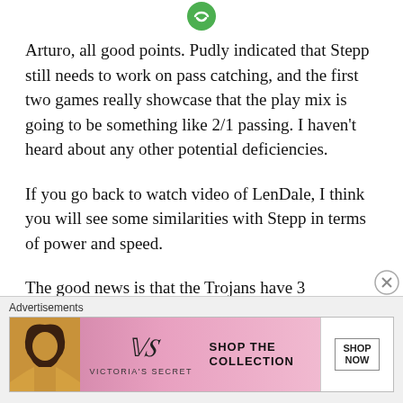[Figure (logo): Green circular logo/icon at top center]
Arturo, all good points. Pudly indicated that Stepp still needs to work on pass catching, and the first two games really showcase that the play mix is going to be something like 2/1 passing. I haven't heard about any other potential deficiencies.
If you go back to watch video of LenDale, I think you will see some similarities with Stepp in terms of power and speed.
The good news is that the Trojans have 3 REALLY good RBs.
Advertisements
[Figure (other): Victoria's Secret advertisement banner with model photo, VS logo, SHOP THE COLLECTION text, and SHOP NOW button]